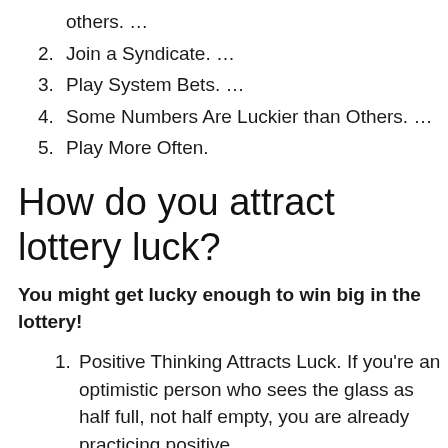others. …
2. Join a Syndicate. …
3. Play System Bets. …
4. Some Numbers Are Luckier than Others. …
5. Play More Often.
How do you attract lottery luck?
You might get lucky enough to win big in the lottery!
1. Positive Thinking Attracts Luck. If you're an optimistic person who sees the glass as half full, not half empty, you are already practicing positive